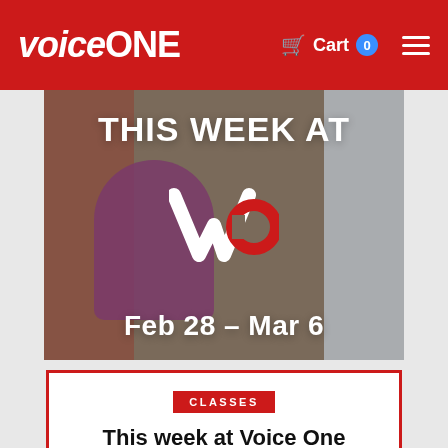Voice One — Cart 0
[Figure (photo): Hero image showing a woman sitting at a desk with a computer in a brick-walled room, overlaid with text 'THIS WEEK AT [Voice One logo] Feb 28 – Mar 6']
CLASSES
This week at Voice One